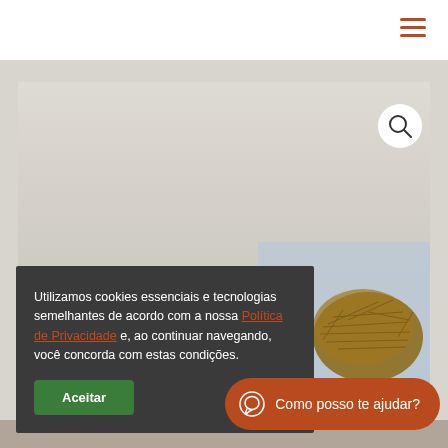Navigation bar with hamburger menu
[Figure (photo): Background image of a bird nest on a light sky background, with a beige/gray gradient area behind a photo card]
Utilizamos cookies essenciais e tecnologias semelhantes de acordo com a nossa Política de Privacidade e, ao continuar navegando, você concorda com estas condições.
Aceitar
Como posso te ajudar?